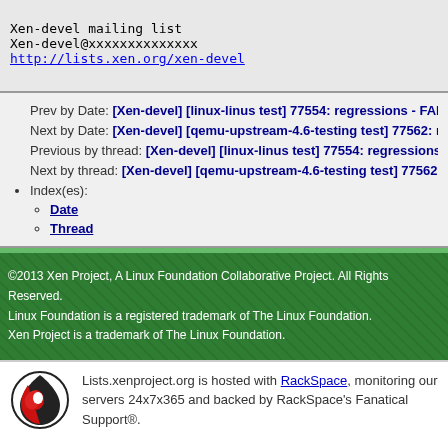Xen-devel mailing list
Xen-devel@xxxxxxxxxxxxxx
http://lists.xen.org/xen-devel
Prev by Date: [Xen-devel] [linux-linus test] 77554: regressions - FAIL
Next by Date: [Xen-devel] [qemu-upstream-4.6-testing test] 77562: regre...
Previous by thread: [Xen-devel] [linux-linus test] 77554: regressions - FA...
Next by thread: [Xen-devel] [qemu-upstream-4.6-testing test] 77562: regr...
Index(es): Date, Thread
©2013 Xen Project, A Linux Foundation Collaborative Project. All Rights Reserved. Linux Foundation is a registered trademark of The Linux Foundation. Xen Project is a trademark of The Linux Foundation.
Lists.xenproject.org is hosted with RackSpace, monitoring our servers 24x7x365 and backed by RackSpace's Fanatical Support®.